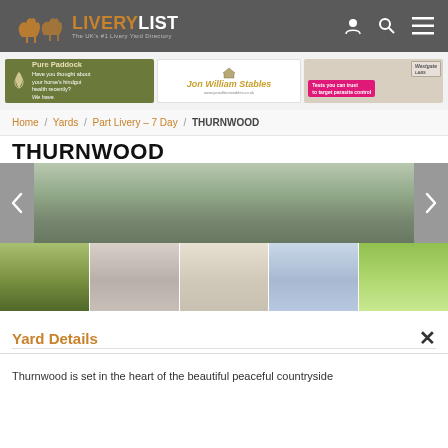LIVERY LIST - The UK's #1 Livery Yard Directory
[Figure (screenshot): Three advertisement banners: Pure Paddock (green background, horse health ad), Jon William Stables (cream background, equestrian logo), Westgate Labs (equestrian parasite control tests)]
Home / Yards / Part Livery - 7 Day / THURNWOOD
THURNWOOD
[Figure (photo): Main gallery image showing countryside landscape with trees. Navigation arrows on left and right sides. Below are 5 thumbnails: sheep in green field, horse close-up, historic manor house with horses, open yard/arena, horses grazing in field.]
Yard Details
Thurnwood is set in the heart of the beautiful peaceful countryside